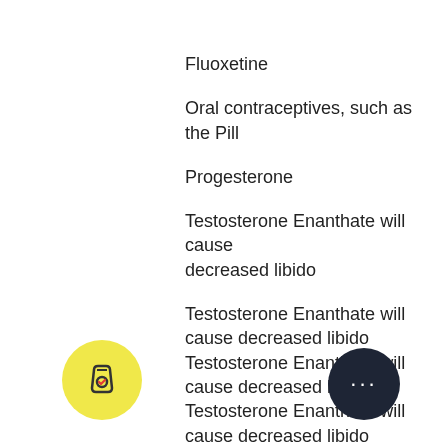Fluoxetine
Oral contraceptives, such as the Pill
Progesterone
Testosterone Enanthate will cause decreased libido
Testosterone Enanthate will cause decreased libido Testosterone Enanthate will cause decreased libido Testosterone Enanthate will cause decreased libido Testosterone Enanthate will cause decreased libido Testosterone Enanthate may cause decreased libido Testosterone Enanthate will cause decreased libido Testosterone Enanthate may cause decreased libido